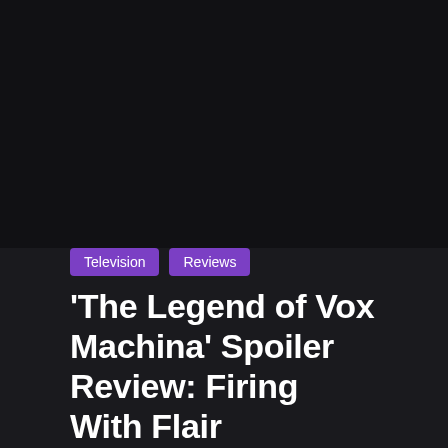[Figure (photo): Dark background image area, nearly black, occupying the upper portion of the page]
Television
Reviews
'The Legend of Vox Machina' Spoiler Review: Firing With Flair
February 11, 2022  Aaron Acevedo  Amazon Prime Video, critical role, Dungeons and dragons, Prime Video, The Legend of Vox Machina